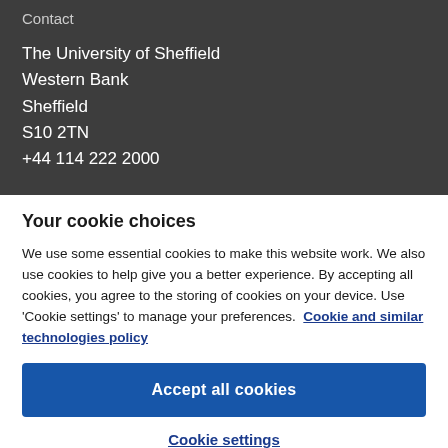Contact
The University of Sheffield
Western Bank
Sheffield
S10 2TN
+44 114 222 2000
Your cookie choices
We use some essential cookies to make this website work. We also use cookies to help give you a better experience. By accepting all cookies, you agree to the storing of cookies on your device. Use 'Cookie settings' to manage your preferences. Cookie and similar technologies policy
Accept all cookies
Cookie settings